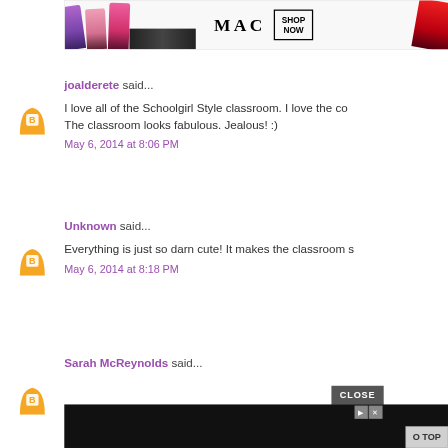[Figure (photo): MAC cosmetics advertisement banner showing lipsticks in purple, pink, and red with MAC logo and SHOP NOW box]
joalderete said...
I love all of the Schoolgirl Style classroom. I love the co... The classroom looks fabulous. Jealous! :)
May 6, 2014 at 8:06 PM
Unknown said...
Everything is just so darn cute! It makes the classroom s...
May 6, 2014 at 8:18 PM
Sarah McReynolds said...